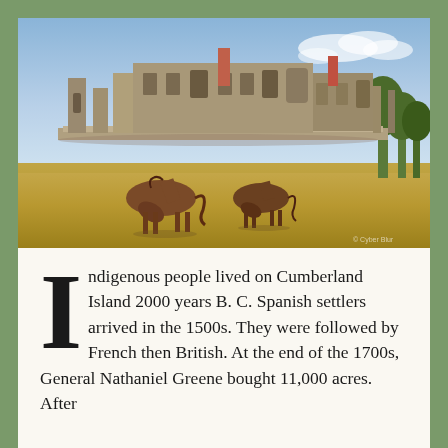[Figure (photo): Photograph of ruins of a large stone and brick mansion or estate building with multiple columns and archways, set against a blue sky with some clouds. In the foreground, two brown horses are grazing on a golden-green grass field. Trees are visible on the right side. A small watermark is visible in the lower right corner.]
Indigenous people lived on Cumberland Island 2000 years B. C. Spanish settlers arrived in the 1500s. They were followed by French then British. At the end of the 1700s, General Nathaniel Greene bought 11,000 acres. After